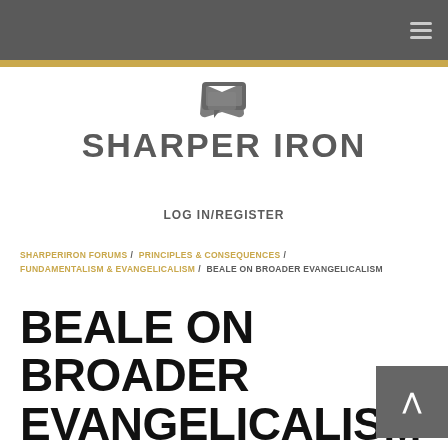SHARPER IRON
LOG IN/REGISTER
SHARPERIRON FORUMS / PRINCIPLES & CONSEQUENCES / FUNDAMENTALISM & EVANGELICALISM / BEALE ON BROADER EVANGELICALISM
BEALE ON BROADER EVANGELICALISM